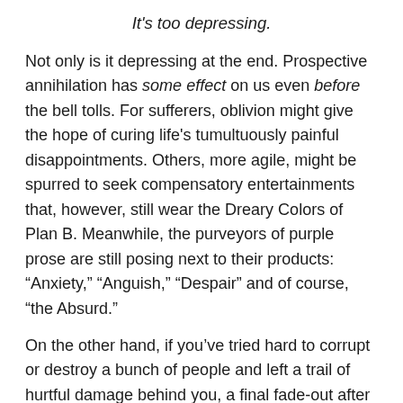It's too depressing.
Not only is it depressing at the end.  Prospective annihilation has some effect on us even before the bell tolls.  For sufferers, oblivion might give the hope of curing life's tumultuously painful disappointments.  Others, more agile, might be spurred to seek compensatory entertainments that, however, still wear the Dreary Colors of Plan B.   Meanwhile, the purveyors of purple prose are still posing next to their products: “Anxiety,” “Anguish,” “Despair” and of course, “the Absurd.”
On the other hand, if you’ve tried hard to corrupt or destroy a bunch of people and left a trail of hurtful damage behind you, a final fade-out after your last breath would be very good news.  Hey, you won’t have to pay!  Sorry subpoena servers!  Bye now!